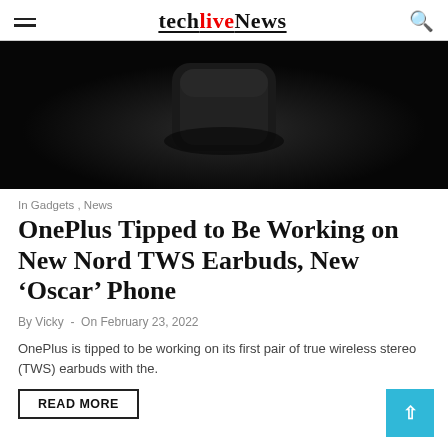techlivenews
[Figure (photo): Dark product shot of earbuds case on black background]
In Gadgets , News
OnePlus Tipped to Be Working on New Nord TWS Earbuds, New ‘Oscar’ Phone
By Vicky  -  On February 23, 2022
OnePlus is tipped to be working on its first pair of true wireless stereo (TWS) earbuds with the.
READ MORE